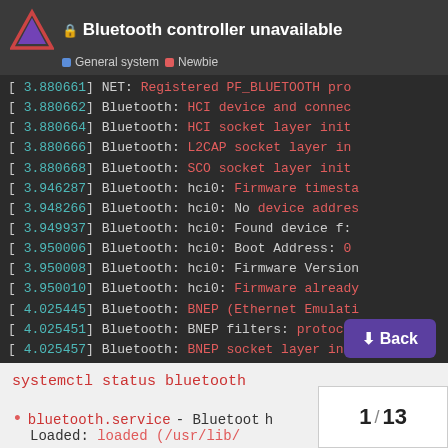Bluetooth controller unavailable — General system · Newbie
[Figure (screenshot): Terminal/kernel log output showing Bluetooth initialization messages with timestamps between 3.880661 and 4.025457]
systemctl status bluetooth
bluetooth.service - Bluetooth
Loaded: loaded (/usr/lib/